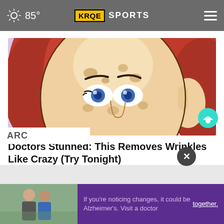85° KRQE SPORTS
[Figure (illustration): Cartoon/illustration of a woman with red hair and spotted skin, looking worried, with blue eyes, close-up face view]
Doctors Stunned: This Removes Wrinkles Like Crazy (Try Tonight)
Ad by HealthScore
ARC
[Figure (photo): Two men standing together outdoors]
If you're noticing changes, it could be Alzheimer's. Visit a doctor together.